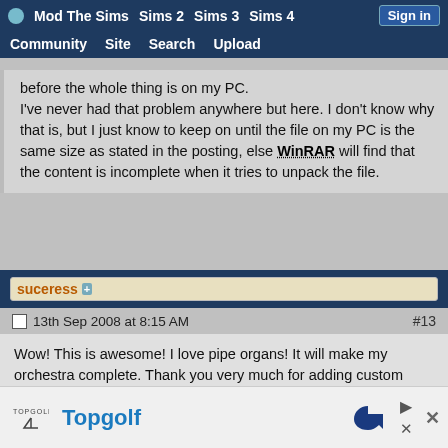Mod The Sims | Sims 2 | Sims 3 | Sims 4 | Sign in | Community | Site | Search | Upload
before the whole thing is on my PC. I've never had that problem anywhere but here. I don't know why that is, but I just know to keep on until the file on my PC is the same size as stated in the posting, else WinRAR will find that the content is incomplete when it tries to unpack the file.
suceress
13th Sep 2008 at 8:15 AM  #13
Wow! This is awesome! I love pipe organs! It will make my orchestra complete. Thank you very much for adding custom sound! Am I correct in assuming that the sound package is just put into the downloads folder and that no special installation methods are needed?
Topgolf